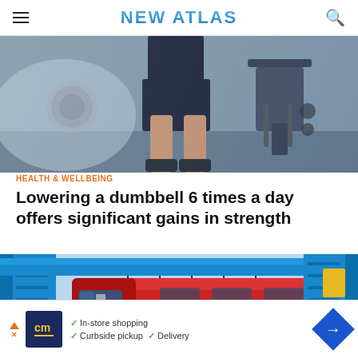NEW ATLAS
[Figure (photo): A person in a gym setting wearing dark shorts, standing near exercise equipment with a dumbbell or weight visible. Atmospheric gym scene with blue-grey tones.]
HEALTH & WELLBEING
Lowering a dumbbell 6 times a day offers significant gains in strength
[Figure (photo): A red monorail or suspended train car on a blue elevated rail structure, with green hills visible in the background. A small yellow rectangle is visible in the upper right of the image.]
In-store shopping  Curbside pickup  Delivery